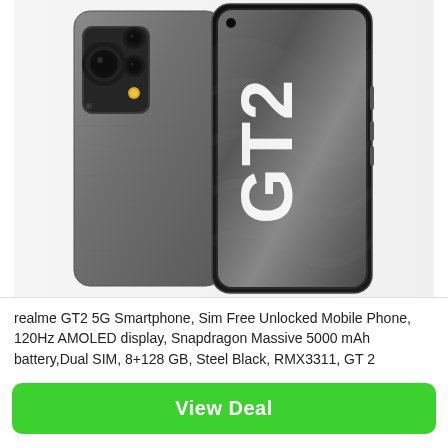[Figure (photo): Product photo of realme GT2 5G smartphone showing the back of the phone (steel black color with triple camera module) on the left, and the front display screen showing the GT2 branding in large white letters on a grey textured background on the right.]
realme GT2 5G Smartphone, Sim Free Unlocked Mobile Phone, 120Hz AMOLED display, Snapdragon Massive 5000 mAh battery,Dual SIM, 8+128 GB, Steel Black, RMX3311, GT 2
View Deal